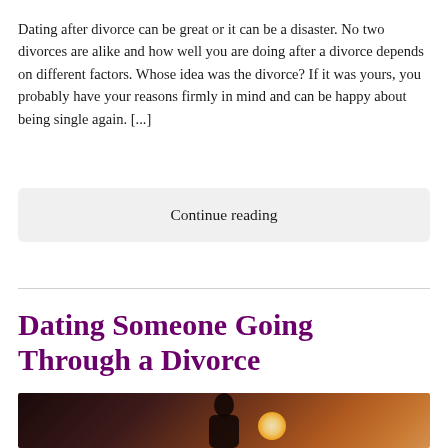Dating after divorce can be great or it can be a disaster. No two divorces are alike and how well you are doing after a divorce depends on different factors. Whose idea was the divorce? If it was yours, you probably have your reasons firmly in mind and can be happy about being single again. [...]
Continue reading
Dating Someone Going Through a Divorce
[Figure (photo): Dark atmospheric photo of a person's silhouette with warm bokeh light in background]